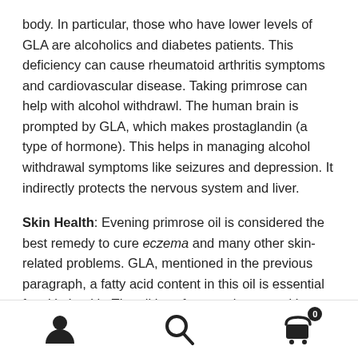body. In particular, those who have lower levels of GLA are alcoholics and diabetes patients. This deficiency can cause rheumatoid arthritis symptoms and cardiovascular disease. Taking primrose can help with alcohol withdrawl. The human brain is prompted by GLA, which makes prostaglandin (a type of hormone). This helps in managing alcohol withdrawal symptoms like seizures and depression. It indirectly protects the nervous system and liver.
Skin Health: Evening primrose oil is considered the best remedy to cure eczema and many other skin-related problems. GLA, mentioned in the previous paragraph, a fatty acid content in this oil is essential for skin health. The oil is safe to apply to sensitive skin to help with skin
[user icon] [search icon] [cart icon with 0]